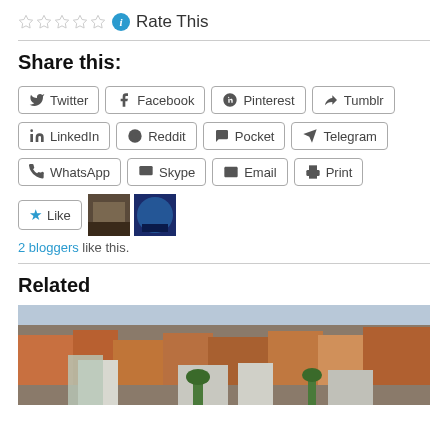Rate This
Share this:
Twitter Facebook Pinterest Tumblr LinkedIn Reddit Pocket Telegram WhatsApp Skype Email Print
Like
2 bloggers like this.
Related
[Figure (photo): Aerial view of a European city with densely packed buildings and orange/red rooftops]